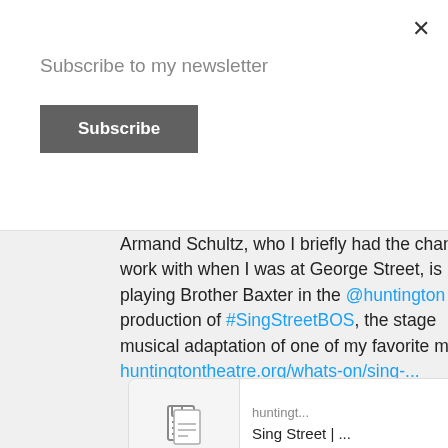Subscribe to my newsletter
Subscribe
Armand Schultz, who I briefly had the chance to work with when I was at George Street, is playing Brother Baxter in the @huntington production of #SingStreetBOS, the stage musical adaptation of one of my favorite movies huntingtontheatre.org/whats-on/sing-...
[Figure (screenshot): Link preview card showing a document icon on the left and 'huntingt...' domain with 'Sing Street | ...' title on the right]